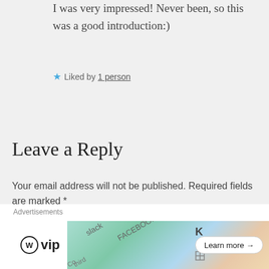I was very impressed! Never been, so this was a good introduction:)
★ Liked by 1 person
Leave a Reply
Your email address will not be published. Required fields are marked *
COMMENT *
[Figure (screenshot): WordPress VIP advertisement banner with colorful cards and a Learn more button]